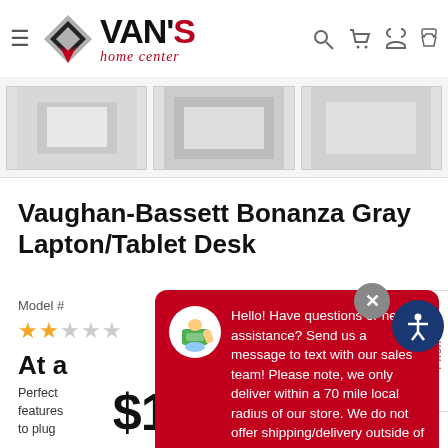Van's Home Center
[Figure (photo): Three product thumbnail images of the Vaughan-Bassett Bonanza Gray Laptop/Tablet Desk]
Vaughan-Bassett Bonanza Gray Lapton/Tablet Desk
Model #
★★☆☆☆
At a
Perfect features to plug
[Figure (screenshot): Chat popup overlay with red background. Message: Hello! Have questions or need assistance? Send us a message to text with our sales team! Please note, we only deliver within a 70 mile local radius of our store. We do not offer shipping/delivery outside of that. Input field: Write your message...]
$1,200.00